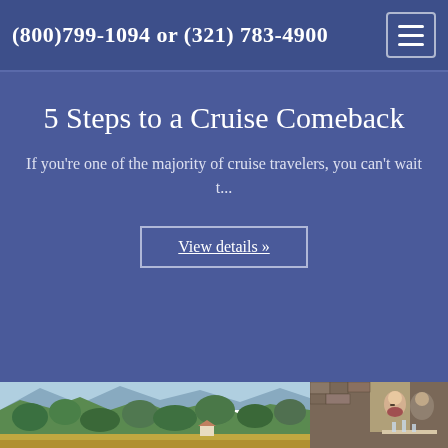(800)799-1094 or (321) 783-4900
5 Steps to a Cruise Comeback
If you're one of the majority of cruise travelers, you can't wait t...
View details »
[Figure (photo): Split photo strip: left side shows a mountain and pine forest landscape; right side shows two people dining at a stone-walled restaurant.]